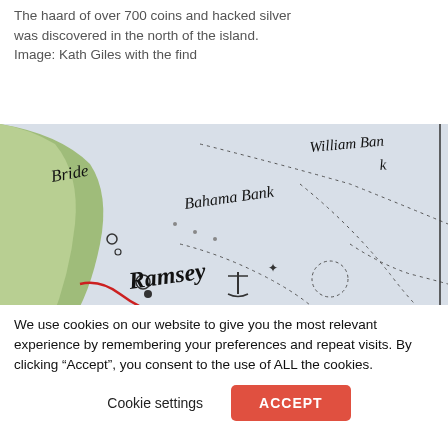The hoard of over 700 coins and hacked silver was discovered in the north of the island. Image: Kath Giles with the find
[Figure (map): Close-up of an antique map showing Isle of Man area with place names including Bride, Ramsey, Bahama Bank, William Bank, and Maughold Head visible in old cartographic style with dotted coastlines and ornate lettering]
We use cookies on our website to give you the most relevant experience by remembering your preferences and repeat visits. By clicking “Accept”, you consent to the use of ALL the cookies.
Cookie settings   ACCEPT